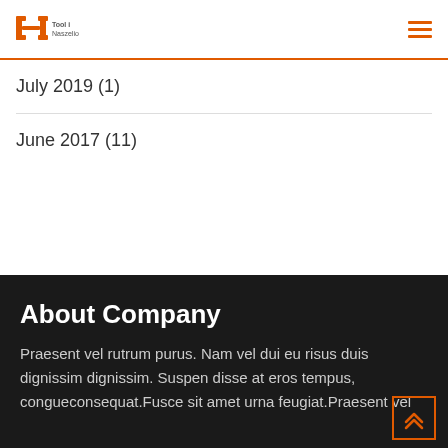Tool i Naszelio [logo] ☰
July 2019 (1)
June 2017 (11)
About Company
Praesent vel rutrum purus. Nam vel dui eu risus duis dignissim dignissim. Suspen disse at eros tempus, congueconsequat.Fusce sit amet urna feugiat.Praesent vel